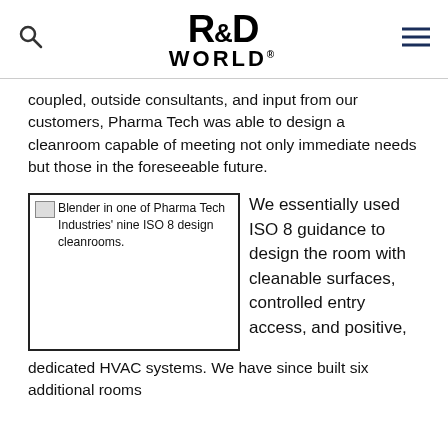R&D WORLD (logo with search and menu icons)
coupled, outside consultants, and input from our customers, Pharma Tech was able to design a cleanroom capable of meeting not only immediate needs but those in the foreseeable future.
[Figure (photo): Blender in one of Pharma Tech Industries' nine ISO 8 design cleanrooms. Image shown as broken placeholder with caption text.]
We essentially used ISO 8 guidance to design the room with cleanable surfaces, controlled entry access, and positive,
dedicated HVAC systems. We have since built six additional rooms